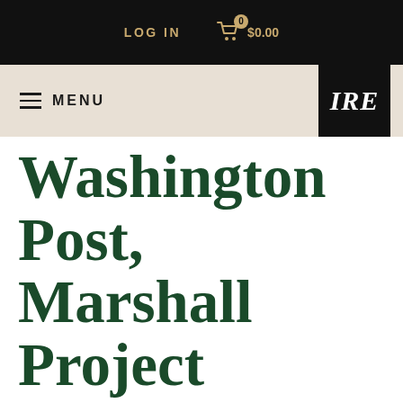LOG IN   $0.00
MENU  IRE
Washington Post, Marshall Project collaborate with